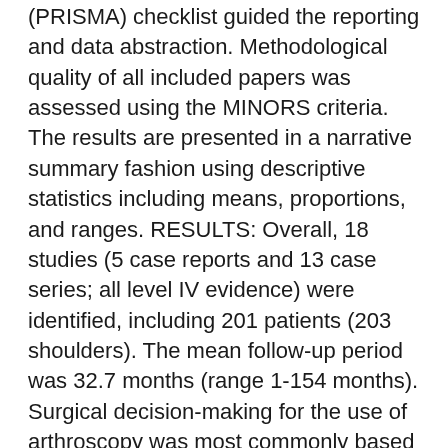(PRISMA) checklist guided the reporting and data abstraction. Methodological quality of all included papers was assessed using the MINORS criteria. The results are presented in a narrative summary fashion using descriptive statistics including means, proportions, and ranges. RESULTS: Overall, 18 studies (5 case reports and 13 case series; all level IV evidence) were identified, including 201 patients (203 shoulders). The mean follow-up period was 32.7 months (range 1-154 months). Surgical decision-making for the use of arthroscopy was most commonly based on a failed trial of initial non-operative management in 17 studies (94%). Overall, 21% of cases achieved complete resolution of pre-operative symptoms, including pain, crepitus, and range of motion, while 68% of cases obtained some clinical improvement, but reported some residual symptoms (persistent crepitus [12%] and persistent